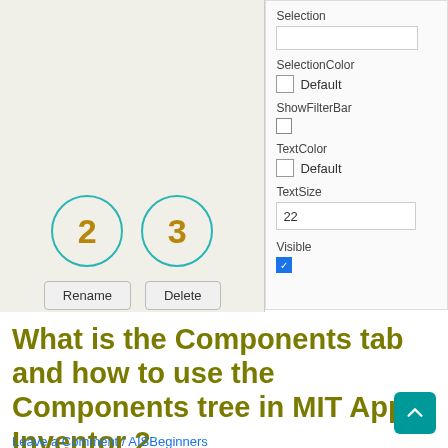[Figure (screenshot): MIT App Inventor 2 interface showing left panel with two teal-circled numbers (2 and 3) and Rename/Delete buttons, and right panel showing component properties: Selection (text input), SelectionColor (Default), ShowFilterBar (checkbox), TextColor (Default), TextSize (22), Visible (checked blue checkbox)]
What is the Components tab and how to use the Components tree in MIT App Inventor 2
Leave a Comment / AISBeginners